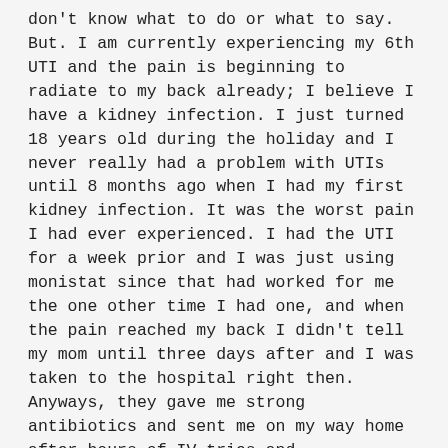don't know what to do or what to say. But. I am currently experiencing my 6th UTI and the pain is beginning to radiate to my back already; I believe I have a kidney infection. I just turned 18 years old during the holiday and I never really had a problem with UTIs until 8 months ago when I had my first kidney infection. It was the worst pain I had ever experienced. I had the UTI for a week prior and I was just using monistat since that had worked for me the one other time I had one, and when the pain reached my back I didn't tell my mom until three days after and I was taken to the hospital right then. Anyways, they gave me strong antibiotics and sent me on my way home after hours of IV tries and ultrasounds. The antibiotics worked wonderfully and I finished the bottle like instructed. After a few weeks I had another UTI, so I went to see my doctor and I was given more antibiotics. I didn't think anything of it and I just took my medicine as instructed.
My third and fourth UTI snuck up on me about